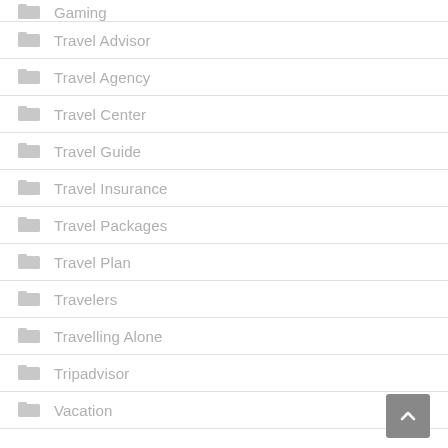Gaming
Travel Advisor
Travel Agency
Travel Center
Travel Guide
Travel Insurance
Travel Packages
Travel Plan
Travelers
Travelling Alone
Tripadvisor
Vacation